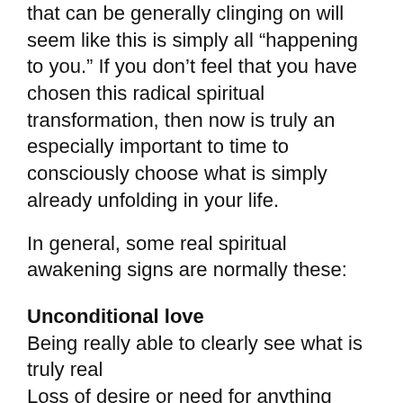that can be generally clinging on will seem like this is simply all “happening to you.” If you don’t feel that you have chosen this radical spiritual transformation, then now is truly an especially important to time to consciously choose what is simply already unfolding in your life.
In general, some real spiritual awakening signs are normally these:
Unconditional love
Being really able to clearly see what is truly real
Loss of desire or need for anything external to complete you/ wholeness as you already are really
A profound sense of calm, peace, or serenity